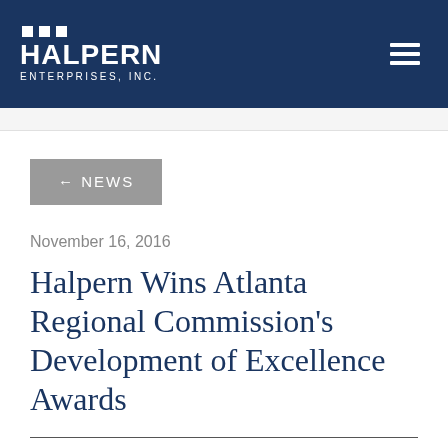Halpern Enterprises, Inc. — Navigation header with logo and menu
← NEWS
November 16, 2016
Halpern Wins Atlanta Regional Commission's Development of Excellence Awards